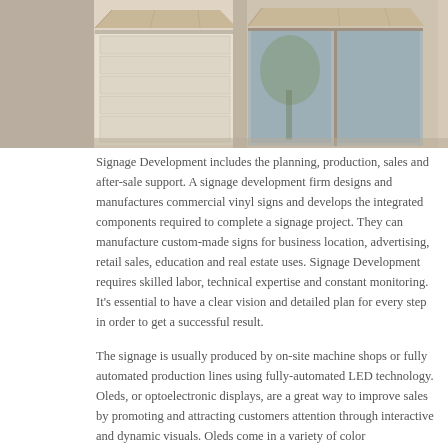[Figure (photo): Exterior photo of a commercial building with tan/beige facade, showing a garage door on the left, a display window in the center, and awnings over the windows and entrance. Natural lighting with trees visible in the background.]
Signage Development includes the planning, production, sales and after-sale support. A signage development firm designs and manufactures commercial vinyl signs and develops the integrated components required to complete a signage project. They can manufacture custom-made signs for business location, advertising, retail sales, education and real estate uses. Signage Development requires skilled labor, technical expertise and constant monitoring. It's essential to have a clear vision and detailed plan for every step in order to get a successful result.
The signage is usually produced by on-site machine shops or fully automated production lines using fully-automated LED technology. Oleds, or optoelectronic displays, are a great way to improve sales by promoting and attracting customers attention through interactive and dynamic visuals. Oleds come in a variety of color combinations and are made from high performance plastic materials that can withstand harsh outdoor conditions and can work regardless of low lighting or low-visibility circumstances such as fog, snow, rain and even darkness. Oleds